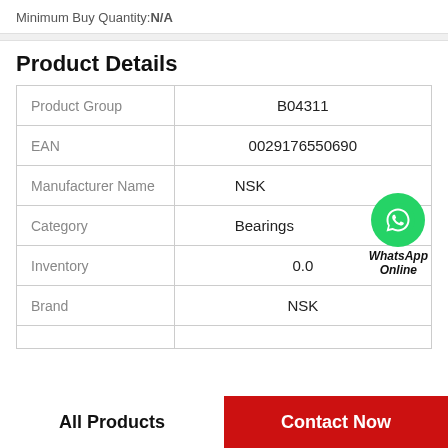Minimum Buy Quantity:N/A
Product Details
|  |  |
| --- | --- |
| Product Group | B04311 |
| EAN | 0029176550690 |
| Manufacturer Name | NSK |
| Category | Bearings |
| Inventory | 0.0 |
| Brand | NSK |
|  |  |
[Figure (logo): WhatsApp green phone icon with label 'WhatsApp Online']
All Products
Contact Now